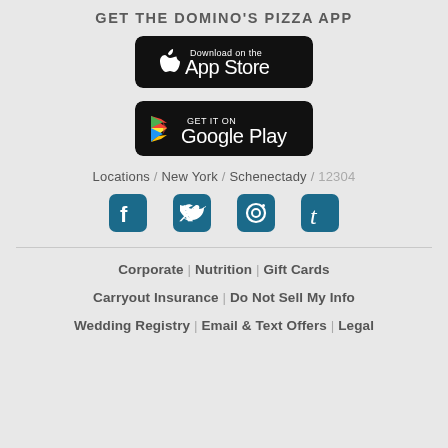GET THE DOMINO'S PIZZA APP
[Figure (logo): Download on the App Store button (black rounded rectangle with Apple logo)]
[Figure (logo): Get it on Google Play button (black rounded rectangle with Google Play logo)]
Locations / New York / Schenectady / 12304
[Figure (infographic): Social media icons: Facebook, Twitter, Instagram, Tumblr in teal/dark blue]
Corporate | Nutrition | Gift Cards
Carryout Insurance | Do Not Sell My Info
Wedding Registry | Email & Text Offers | Legal